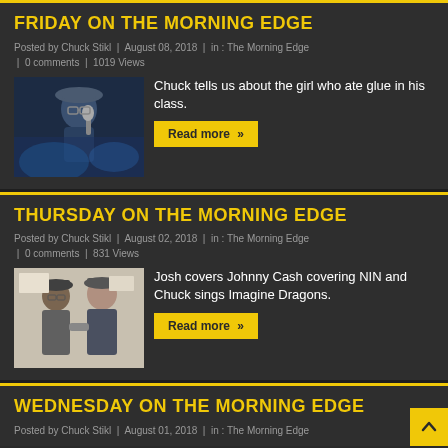FRIDAY ON THE MORNING EDGE
Posted by Chuck Stikl  |  August 08, 2018  |  in : The Morning Edge  |  0 comments  |  1019 Views
[Figure (photo): Person singing or performing with microphone, wearing hat, dark concert lighting]
Chuck tells us about the girl who ate glue in his class.
Read more »
THURSDAY ON THE MORNING EDGE
Posted by Chuck Stikl  |  August 02, 2018  |  in : The Morning Edge  |  0 comments  |  831 Views
[Figure (photo): Two men posing together indoors, casual clothing]
Josh covers Johnny Cash covering NIN and Chuck sings Imagine Dragons.
Read more »
WEDNESDAY ON THE MORNING EDGE
Posted by Chuck Stikl  |  August 01, 2018  |  in : The Morning Edge